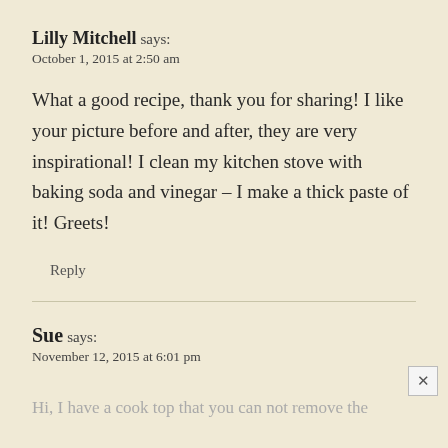Lilly Mitchell says:
October 1, 2015 at 2:50 am
What a good recipe, thank you for sharing! I like your picture before and after, they are very inspirational! I clean my kitchen stove with baking soda and vinegar – I make a thick paste of it! Greets!
Reply
Sue says:
November 12, 2015 at 6:01 pm
Hi, I have a cook top that you can not remove the